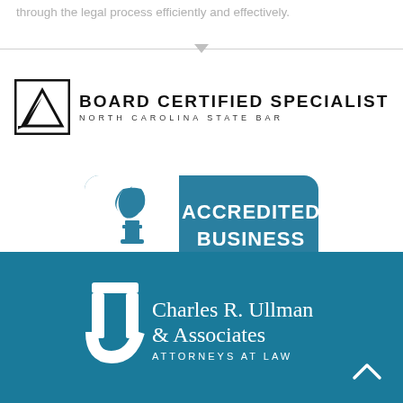through the legal process efficiently and effectively.
[Figure (logo): Board Certified Specialist North Carolina State Bar logo with triangle/mountain shape in square frame]
[Figure (logo): BBB Accredited Business badge — teal badge with BBB flame logo and text ACCREDITED BUSINESS]
[Figure (logo): Charles R. Ullman & Associates Attorneys at Law logo in white on teal background, with gavel/U icon]